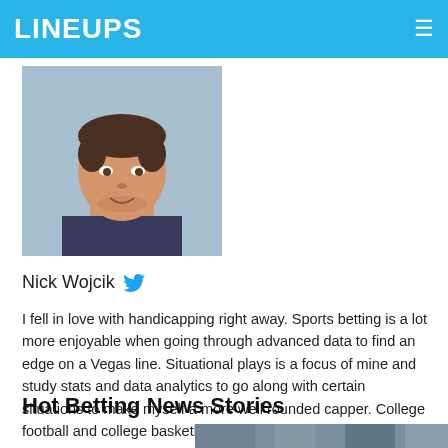LINEUPS
[Figure (photo): Headshot photo of Nick Wojcik, a man with short dark hair, smiling slightly, with a light blue background]
Nick Wojcik
I fell in love with handicapping right away. Sports betting is a lot more enjoyable when going through advanced data to find an edge on a Vegas line. Situational plays is a focus of mine and study stats and data analytics to go along with certain situations to make myself a more well rounded capper. College football and college basketball are my favorite to bet.
Hot Betting News Stories
[Figure (photo): Partial photo of a crowd at a sporting event, football players visible]